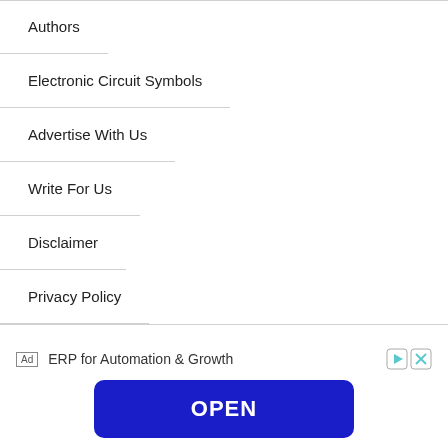Authors
Electronic Circuit Symbols
Advertise With Us
Write For Us
Disclaimer
Privacy Policy
[Figure (other): Advertisement banner for ERP for Automation & Growth with an OPEN button]